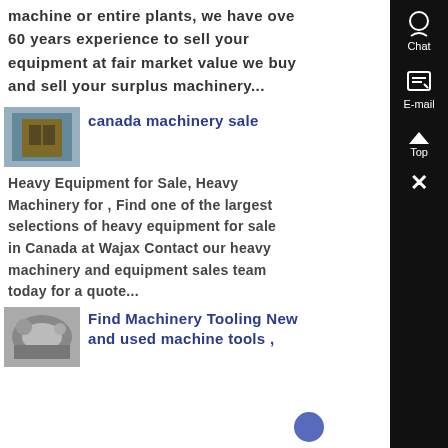machine or entire plants, we have over 60 years experience to sell your equipment at fair market value we buy and sell your surplus machinery...
[Figure (photo): Thumbnail photo of a building with wooden doors]
canada machinery sale
Heavy Equipment for Sale, Heavy Machinery for , Find one of the largest selections of heavy equipment for sale in Canada at Wajax Contact our heavy machinery and equipment sales team today for a quote...
[Figure (photo): Thumbnail photo of industrial machinery]
Find Machinery Tooling New and used machine tools ,